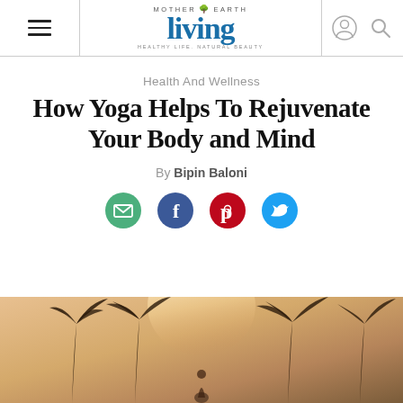Mother Earth Living — navigation header with hamburger menu, logo, user icon, search icon
Health And Wellness
How Yoga Helps To Rejuvenate Your Body and Mind
By Bipin Baloni
[Figure (infographic): Social sharing icons: email (green circle), Facebook (blue circle), Pinterest (red circle), Twitter (blue bird)]
[Figure (photo): Photograph of palm tree silhouettes with bright sunlight shining through, warm golden tones, person visible in foreground]